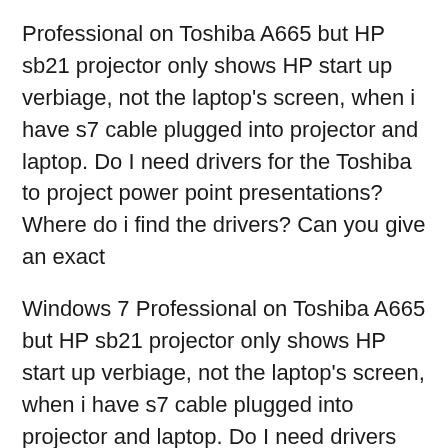Professional on Toshiba A665 but HP sb21 projector only shows HP start up verbiage, not the laptop's screen, when i have s7 cable plugged into projector and laptop. Do I need drivers for the Toshiba to project power point presentations? Where do i find the drivers? Can you give an exact
Windows 7 Professional on Toshiba A665 but HP sb21 projector only shows HP start up verbiage, not the laptop's screen, when i have s7 cable plugged into projector and laptop. Do I need drivers for the Toshiba to project power point presentations? Where do i find the drivers? Can you give an exact 14/08/2010B B· How to create a 3D Terrain with Google Maps and height maps